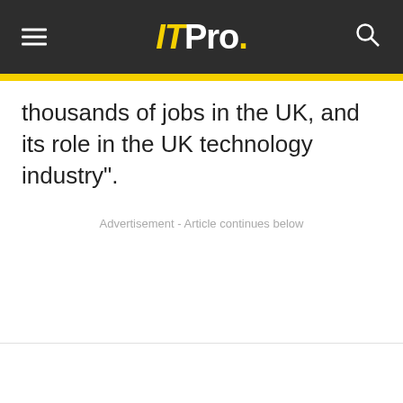ITPro.
thousands of jobs in the UK, and its role in the UK technology industry".
Advertisement - Article continues below